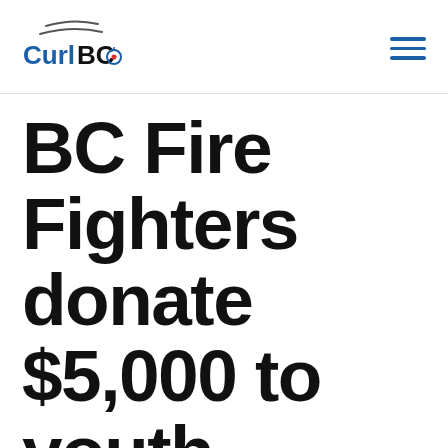[Figure (logo): Curl BC logo with curling stone icon and stylized swoosh lines above text]
BC Fire Fighters donate $5,000 to youth curling